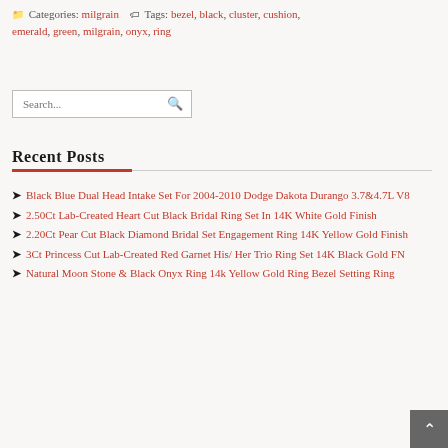Categories: milgrain   Tags: bezel, black, cluster, cushion, emerald, green, milgrain, onyx, ring
Recent Posts
Black Blue Dual Head Intake Set For 2004-2010 Dodge Dakota Durango 3.7&4.7L V8
2.50Ct Lab-Created Heart Cut Black Bridal Ring Set In 14K White Gold Finish
2.20Ct Pear Cut Black Diamond Bridal Set Engagement Ring 14K Yellow Gold Finish
3Ct Princess Cut Lab-Created Red Garnet His/ Her Trio Ring Set 14K Black Gold FN
Natural Moon Stone & Black Onyx Ring 14k Yellow Gold Ring Bezel Setting Ring